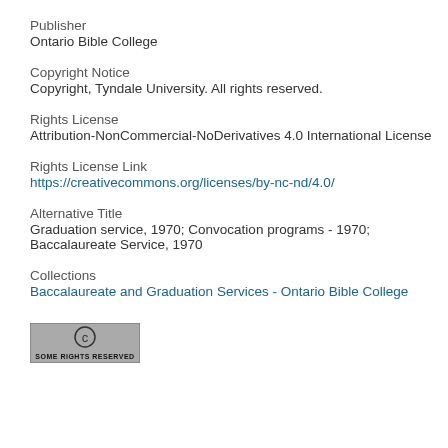Publisher
Ontario Bible College
Copyright Notice
Copyright, Tyndale University. All rights reserved.
Rights License
Attribution-NonCommercial-NoDerivatives 4.0 International License
Rights License Link
https://creativecommons.org/licenses/by-nc-nd/4.0/
Alternative Title
Graduation service, 1970; Convocation programs - 1970; Baccalaureate Service, 1970
Collections
Baccalaureate and Graduation Services - Ontario Bible College
[Figure (logo): Creative Commons 'Some Rights Reserved' badge with CC icon]